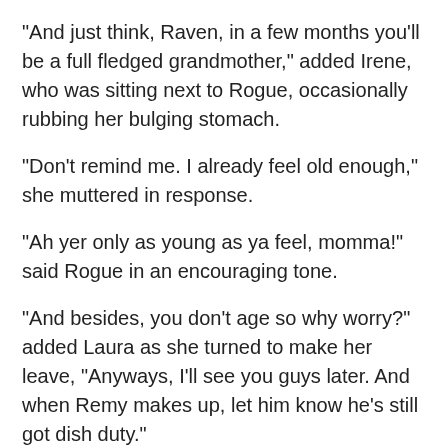"And just think, Raven, in a few months you'll be a full fledged grandmother," added Irene, who was sitting next to Rogue, occasionally rubbing her bulging stomach.
"Don't remind me. I already feel old enough," she muttered in response.
"Ah yer only as young as ya feel, momma!" said Rogue in an encouraging tone.
"And besides, you don't age so why worry?" added Laura as she turned to make her leave, "Anyways, I'll see you guys later. And when Remy makes up, let him know he's still got dish duty."
"Don't worry, sugah. I'll make sure he remembers," assured Rogue with a grin, "Mah hormones will keep him in line."